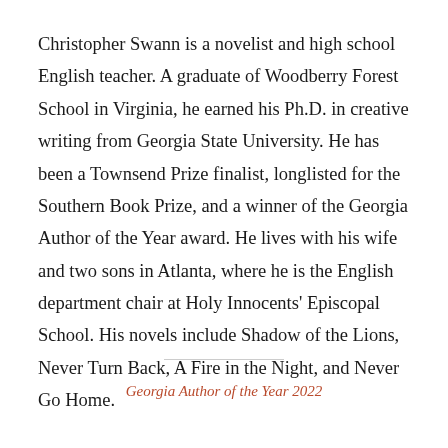Christopher Swann is a novelist and high school English teacher. A graduate of Woodberry Forest School in Virginia, he earned his Ph.D. in creative writing from Georgia State University. He has been a Townsend Prize finalist, longlisted for the Southern Book Prize, and a winner of the Georgia Author of the Year award. He lives with his wife and two sons in Atlanta, where he is the English department chair at Holy Innocents' Episcopal School. His novels include Shadow of the Lions, Never Turn Back, A Fire in the Night, and Never Go Home.
Georgia Author of the Year 2022